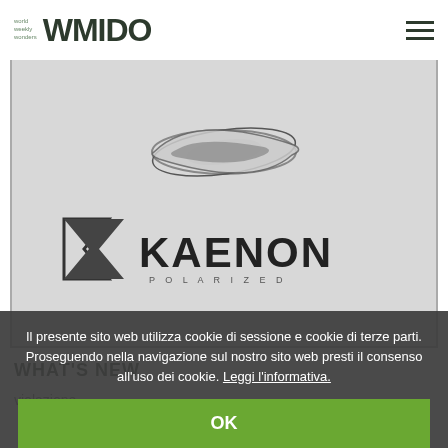WMIDO (world weekly wonders)
[Figure (logo): Image showing Oakley ellipse logo on top and Kaenon polarized logo below, on a light grey/white background with a grey border frame]
WHAT'S NEW
violazione...
Il presente sito web utilizza cookie di sessione e cookie di terze parti. Proseguendo nella navigazione sul nostro sito web presti il consenso all'uso dei cookie. Leggi l'informativa.
OK